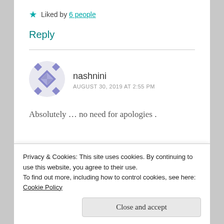Liked by 6 people
Reply
nashnini — AUGUST 30, 2019 AT 2:55 PM
Absolutely … no need for apologies .
Privacy & Cookies: This site uses cookies. By continuing to use this website, you agree to their use. To find out more, including how to control cookies, see here: Cookie Policy
Close and accept